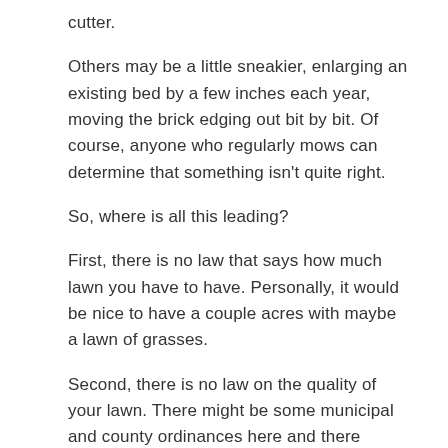cutter.
Others may be a little sneakier, enlarging an existing bed by a few inches each year, moving the brick edging out bit by bit. Of course, anyone who regularly mows can determine that something isn't quite right.
So, where is all this leading?
First, there is no law that says how much lawn you have to have. Personally, it would be nice to have a couple acres with maybe a lawn of grasses.
Second, there is no law on the quality of your lawn. There might be some municipal and county ordinances here and there about weeds and the height of the lawn, but if you want to have a prairie, no one can really argue unless there's ragweed and a few thistles.
Third, if you want a nicer lawn, September is the ideal month to re-seed or re-sod, fertilize, aerate (the best thing you can do next to winterizer fertilizer), and dethatch, if thatch is greater than a half-inch. It would help to have an inch of water per week and 70 degree